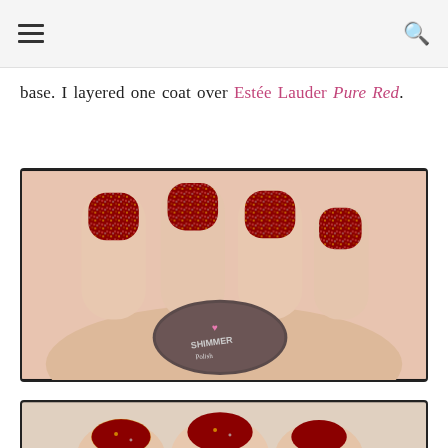[hamburger menu] [search icon]
base. I layered one coat over Estée Lauder Pure Red.
[Figure (photo): Close-up photo of hands showing nails painted with red glitter nail polish, with a Shimmer Polish bottle in the foreground.]
[Figure (photo): Partial second photo showing nails with red glitter polish, cropped at bottom of page.]